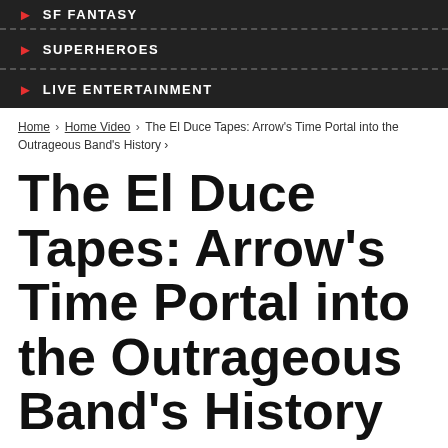SF FANTASY
SUPERHEROES
LIVE ENTERTAINMENT
Home › Home Video › The El Duce Tapes: Arrow's Time Portal into the Outrageous Band's History ›
The El Duce Tapes: Arrow's Time Portal into the Outrageous Band's History
FTC Statement: Reviewers are frequently provided by the publisher/production company with a copy of the material being reviewed. The opinions published are solely those of the respective reviewers and may not reflect the opinions of CriticalBlast.com or